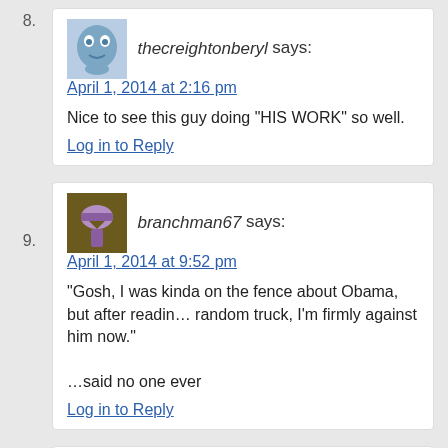8. thecreightonberyl says: April 1, 2014 at 2:16 pm
Nice to see this guy doing “HIS WORK” so well.
Log in to Reply
9. branchman67 says: April 1, 2014 at 9:52 pm
“Gosh, I was kinda on the fence about Obama, but after reading a random truck, I’m firmly against him now.”
…said no one ever
Log in to Reply
10. hyhybt says: April 1, 2014 at 10:58 pm